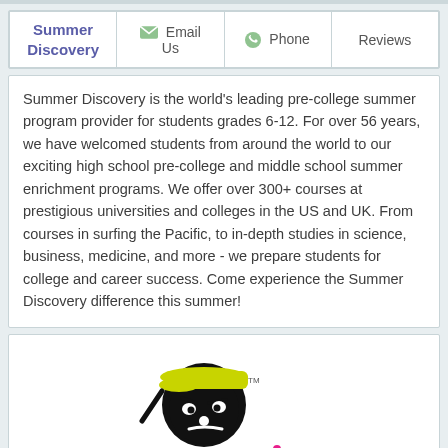| Summer Discovery | Email Us | Phone | Reviews |
| --- | --- | --- | --- |
Summer Discovery is the world's leading pre-college summer program provider for students grades 6-12. For over 56 years, we have welcomed students from around the world to our exciting high school pre-college and middle school summer enrichment programs. We offer over 300+ courses at prestigious universities and colleges in the US and UK. From courses in surfing the Pacific, to in-depth studies in science, business, medicine, and more - we prepare students for college and career success. Come experience the Summer Discovery difference this summer!
[Figure (logo): Urban Air logo featuring a cartoon character with a yellow hard hat and the text 'urbanAir' with a pink dot over the 'i']